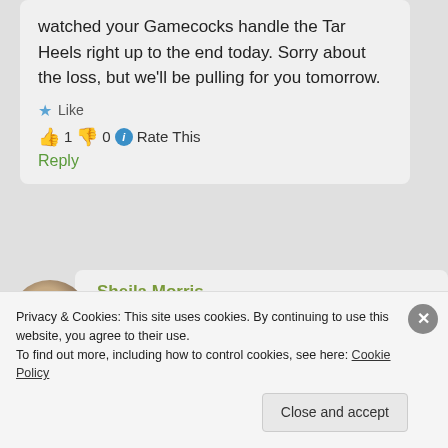watched your Gamecocks handle the Tar Heels right up to the end today. Sorry about the loss, but we'll be pulling for you tomorrow.
★ Like
👍 1 👎 0 ℹ Rate This
Reply
[Figure (photo): Circular avatar photo of Sheila Morris]
Sheila Morris
June 9, 2013 at 6:12 am
Oh Miss Harper Lee, I was so
Privacy & Cookies: This site uses cookies. By continuing to use this website, you agree to their use.
To find out more, including how to control cookies, see here: Cookie Policy
Close and accept